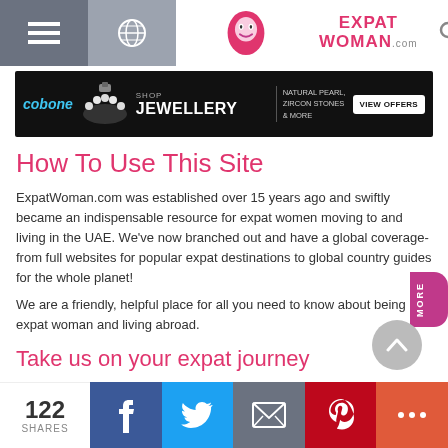ExpatWoman.com navigation bar with menu, globe, logo, search, and user icons
[Figure (screenshot): Cobone jewellery advertisement banner with text: SHOP JEWELLERY | NATURAL PEARL, ZIRCON STONES & MORE | VIEW OFFERS]
How To Use This Site
ExpatWoman.com was established over 15 years ago and swiftly became an indispensable resource for expat women moving to and living in the UAE. We've now branched out and have a global coverage- from full websites for popular expat destinations to global country guides for the whole planet!
We are a friendly, helpful place for all you need to know about being an expat woman and living abroad.
Take us on your expat journey
122 SHARES | Facebook | Twitter | Email | Pinterest | More